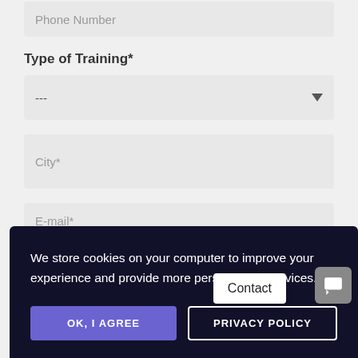Phone Number
Type of Training*
---
City*
E-mail*
We store cookies on your computer to improve your experience and provide more personalized services.
OK, I AGREE
PRIVACY POLICY
Contact